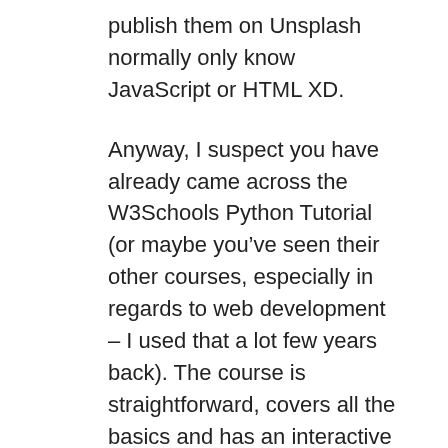publish them on Unsplash normally only know JavaScript or HTML XD.
Anyway, I suspect you have already came across the W3Schools Python Tutorial (or maybe you've seen their other courses, especially in regards to web development – I used that a lot few years back). The course is straightforward, covers all the basics and has an interactive window where you can try running your code – so no need to install anything. Could be a good option if you're using tablet or smartphone to freshen your knowledge.
Another advantage of this resource is that it